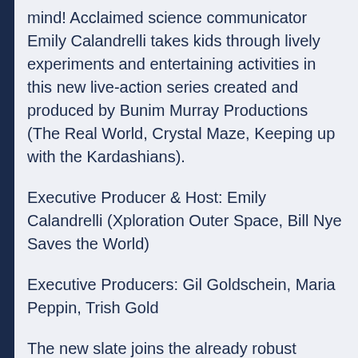mind! Acclaimed science communicator Emily Calandrelli takes kids through lively experiments and entertaining activities in this new live-action series created and produced by Bunim Murray Productions (The Real World, Crystal Maze, Keeping up with the Kardashians).
Executive Producer & Host: Emily Calandrelli (Xploration Outer Space, Bill Nye Saves the World)
Executive Producers: Gil Goldschein, Maria Peppin, Trish Gold
The new slate joins the already robust Netflix original preschool offering for kids aged 2-6, which includes beloved shows such as Ask The StoryBots, Chip and Potato, Mighty Little Bheem, Motown Magic, Super Monsters, True and the Rainbow Kingdom, Word Party, and Yoo-Hoo to the Rescue. Other coming-of-age…